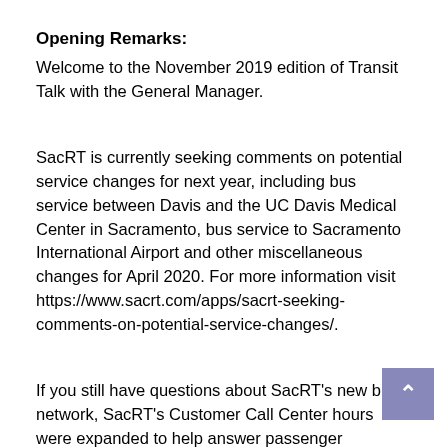Opening Remarks:
Welcome to the November 2019 edition of Transit Talk with the General Manager.
SacRT is currently seeking comments on potential service changes for next year, including bus service between Davis and the UC Davis Medical Center in Sacramento, bus service to Sacramento International Airport and other miscellaneous changes for April 2020. For more information visit https://www.sacrt.com/apps/sacrt-seeking-comments-on-potential-service-changes/.
If you still have questions about SacRT's new bus network, SacRT's Customer Call Center hours were expanded to help answer passenger questions. The new hours are Monday through Friday from 6:30 a.m. to 7:30 p.m. and 7 a.m. to 4p.m. on weekends. The expanded hours will be in effect until December